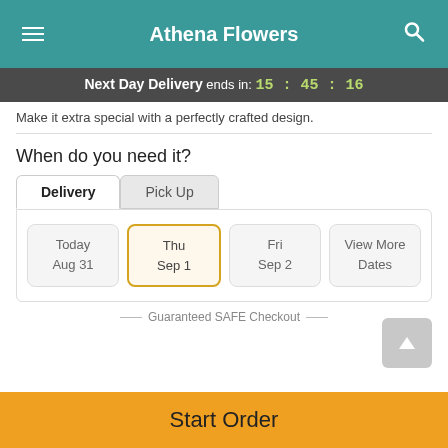Athena Flowers
Next Day Delivery ends in: 15:45:16
Make it extra special with a perfectly crafted design.
When do you need it?
Delivery | Pick Up
Today Aug 31 | Thu Sep 1 (selected) | Fri Sep 2 | View More Dates
Guaranteed SAFE Checkout
Start Order